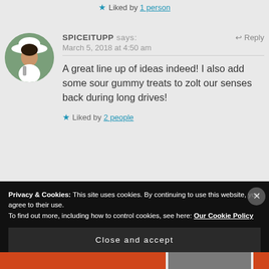★ Liked by 1 person
SPICEITUPP says: March 5, 2018 at 4:50 am
A great line up of ideas indeed! I also add some sour gummy treats to zolt our senses back during long drives!
★ Liked by 2 people
Privacy & Cookies: This site uses cookies. By continuing to use this website, you agree to their use. To find out more, including how to control cookies, see here: Our Cookie Policy
Close and accept